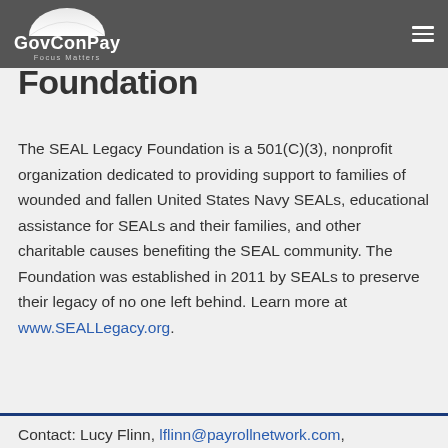GovConPay — Focus Matters
Foundation
The SEAL Legacy Foundation is a 501(C)(3), nonprofit organization dedicated to providing support to families of wounded and fallen United States Navy SEALs, educational assistance for SEALs and their families, and other charitable causes benefiting the SEAL community. The Foundation was established in 2011 by SEALs to preserve their legacy of no one left behind. Learn more at www.SEALLegacy.org.
Contact: Lucy Flinn, lflinn@payrollnetwork.com,